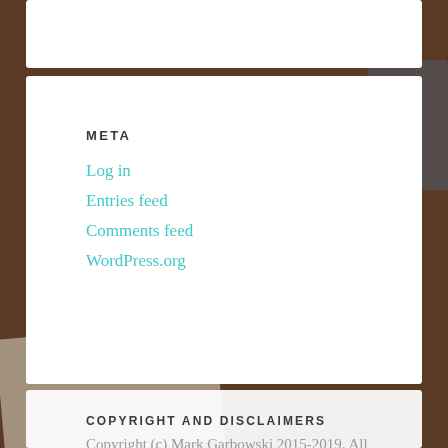META
Log in
Entries feed
Comments feed
WordPress.org
COPYRIGHT AND DISCLAIMERS
Copyright (c) Mark Garbowski 2015-2019. All